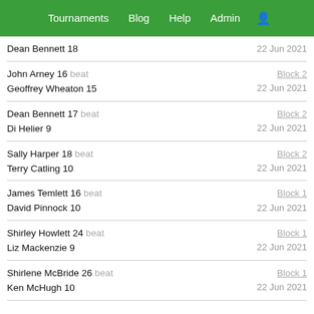Tournaments  Blog  Help  Admin  [user icon]
Dean Bennett 18 beat Geoffrey Wheaton 15 — Block 2, 22 Jun 2021 (partial, top cut off)
John Arney 16 beat Geoffrey Wheaton 15 — Block 2, 22 Jun 2021
Dean Bennett 17 beat Di Helier 9 — Block 2, 22 Jun 2021
Sally Harper 18 beat Terry Catling 10 — Block 2, 22 Jun 2021
James Temlett 16 beat David Pinnock 10 — Block 1, 22 Jun 2021
Shirley Howlett 24 beat Liz Mackenzie 9 — Block 1, 22 Jun 2021
Shirlene McBride 26 beat Ken McHugh 10 — Block 1, 22 Jun 2021